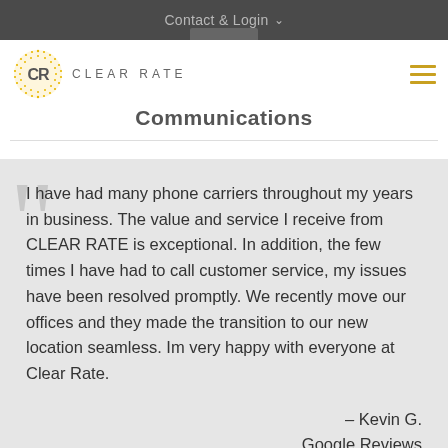Contact & Login
[Figure (logo): Clear Rate Communications logo — yellow dotted circle with 'CR' initials, beside text 'CLEAR RATE']
Communications
I have had many phone carriers throughout my years in business. The value and service I receive from CLEAR RATE is exceptional. In addition, the few times I have had to call customer service, my issues have been resolved promptly. We recently move our offices and they made the transition to our new location seamless. Im very happy with everyone at Clear Rate.
– Kevin G.
Google Reviews